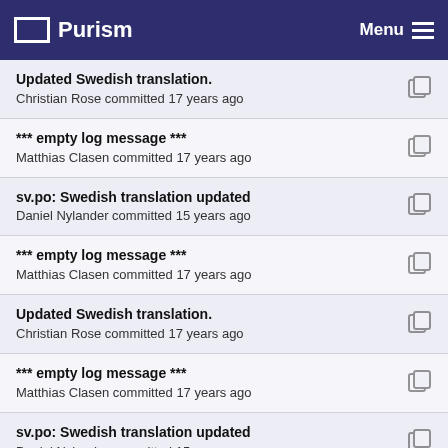Purism  Menu
Updated Swedish translation.
Christian Rose committed 17 years ago
*** empty log message ***
Matthias Clasen committed 17 years ago
sv.po: Swedish translation updated
Daniel Nylander committed 15 years ago
*** empty log message ***
Matthias Clasen committed 17 years ago
Updated Swedish translation.
Christian Rose committed 17 years ago
*** empty log message ***
Matthias Clasen committed 17 years ago
sv.po: Swedish translation updated
Daniel Nylander committed 15 years ago
*** empty log message ***
Matthias Clasen committed 17 years ago